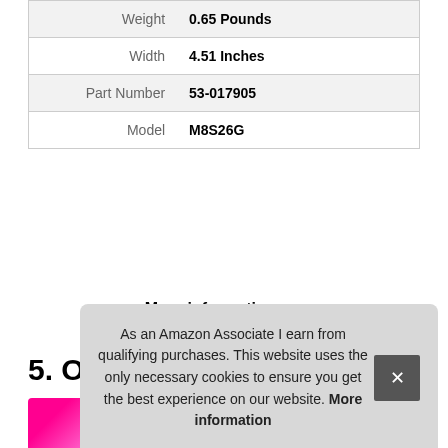| Attribute | Value |
| --- | --- |
| Weight | 0.65 Pounds |
| Width | 4.51 Inches |
| Part Number | 53-017905 |
| Model | M8S26G |
More information #ad
5. Oqddqo
#ad
As an Amazon Associate I earn from qualifying purchases. This website uses the only necessary cookies to ensure you get the best experience on our website. More information